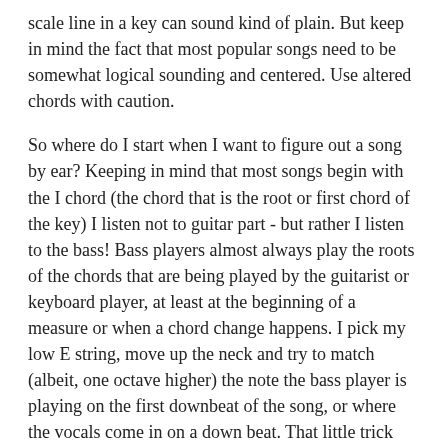scale line in a key can sound kind of plain. But keep in mind the fact that most popular songs need to be somewhat logical sounding and centered. Use altered chords with caution.
So where do I start when I want to figure out a song by ear? Keeping in mind that most songs begin with the I chord (the chord that is the root or first chord of the key) I listen not to guitar part - but rather I listen to the bass! Bass players almost always play the roots of the chords that are being played by the guitarist or keyboard player, at least at the beginning of a measure or when a chord change happens. I pick my low E string, move up the neck and try to match (albeit, one octave higher) the note the bass player is playing on the first downbeat of the song, or where the vocals come in on a down beat. That little trick almost always works to help me identify which key the song is in. Then it's just a matter of thinking about the other scale-line triads available to me in the key and try to use one of them when I hear a